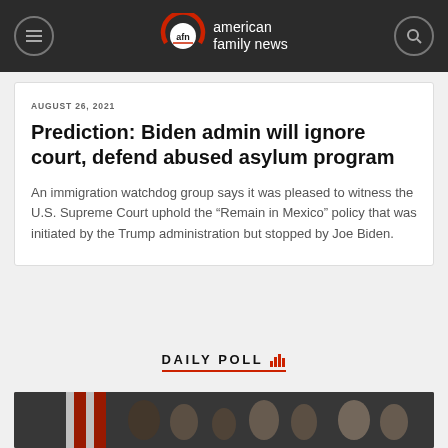american family news
AUGUST 26, 2021
Prediction: Biden admin will ignore court, defend abused asylum program
An immigration watchdog group says it was pleased to witness the U.S. Supreme Court uphold the “Remain in Mexico” policy that was initiated by the Trump administration but stopped by Joe Biden.
DAILY POLL
[Figure (photo): Group of people gathered in front of an American flag, including women, children, and older adults]